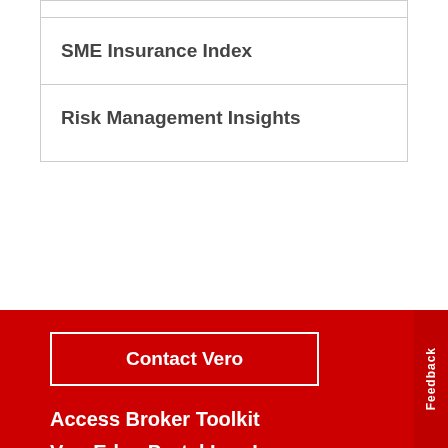| SME Insurance Index |
| Risk Management Insights |
Contact Vero
Access Broker Toolkit
VeroEdge Portal Log In
+ Resources & Guides
+ Helpful Links